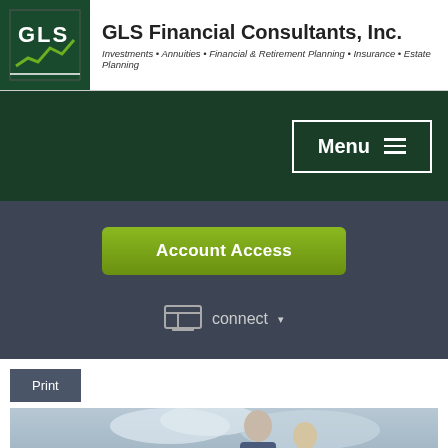GLS Financial Consultants, Inc.
Investments • Annuities • Financial & Retirement Planning • Insurance • Estate Planning
[Figure (logo): GLS logo with green background and white stylized letter G, L, S with a line chart graphic]
Menu ☰
Account Access
connect ▾
Print
[Figure (photo): Older couple smiling outdoors against a cloudy sky background, man in blue jacket, woman with blonde hair]